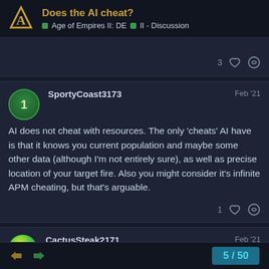Does the AI cheat? | Age of Empires II: DE | II - Discussion
3 likes
SportyCoast3173 Feb '21
AI does not cheat with resources. The only 'cheats' AI have is that it knows you current population and maybe some other data (although I'm not entirely sure), as well as precise location of your target fire. Also you might consider it's infinite APM cheating, but that's arguable.
1 like
CactusSteak2171 Feb '21
[Age Insider] Age II: DE Beta
It doesn't have infinite APM...
5 / 50